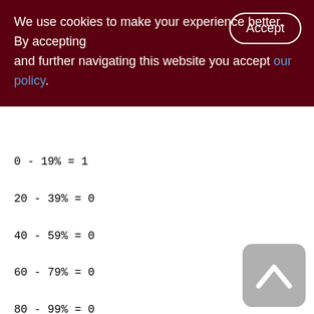We use cookies to make your experience better. By accepting and further navigating this website you accept our policy.
0 - 19% = 1
20 - 39% = 0
40 - 59% = 0
60 - 79% = 0
80 - 99% = 0
TRACE_STAT (276)
Primary pointer page: 513, Index root page: 95177
Average record length: 59.12, total records: 1066
Average version length: 0.00, total versions: 0, max versions: 0